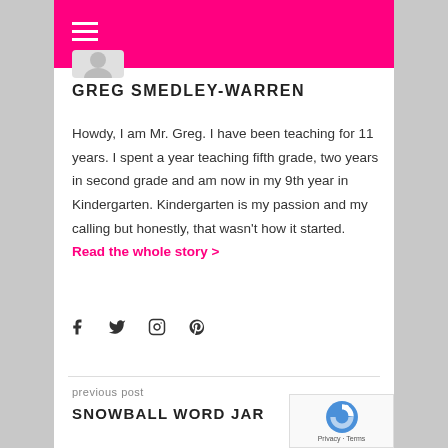GREG SMEDLEY-WARREN
GREG SMEDLEY-WARREN
Howdy, I am Mr. Greg. I have been teaching for 11 years. I spent a year teaching fifth grade, two years in second grade and am now in my 9th year in Kindergarten. Kindergarten is my passion and my calling but honestly, that wasn't how it started. Read the whole story >
[Figure (other): Social media icons: Facebook, Twitter, Instagram, Pinterest]
previous post
SNOWBALL WORD JAR